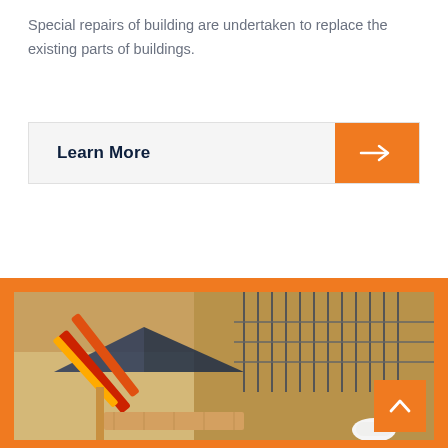Special repairs of building are undertaken to replace the existing parts of buildings.
Learn More
[Figure (photo): Aerial view of a building under construction showing scaffolding, rebar, wooden forms, and a worker wearing a hard hat at the bottom right.]